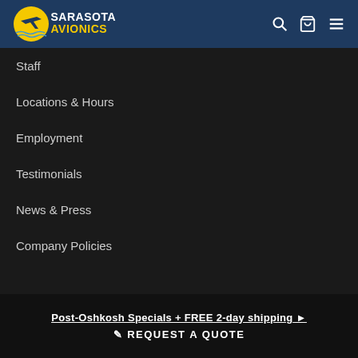Sarasota Avionics
Staff
Locations & Hours
Employment
Testimonials
News & Press
Company Policies
INFORMATION
Aircraft Panel Gallery
Post-Oshkosh Specials + FREE 2-day shipping ▶
✏ REQUEST A QUOTE